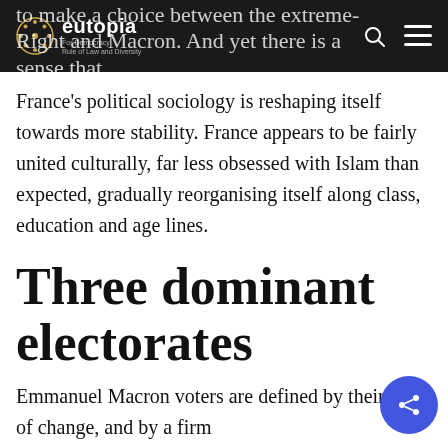eutopia — For Democracy, Rule of Law and Diversity
to make a choice between the extreme-Right and Macron. And yet there is a sense that
France's political sociology is reshaping itself towards more stability. France appears to be fairly united culturally, far less obsessed with Islam than expected, gradually reorganising itself along class, education and age lines.
Three dominant electorates
Emmanuel Macron voters are defined by their fear of change, and by a firm